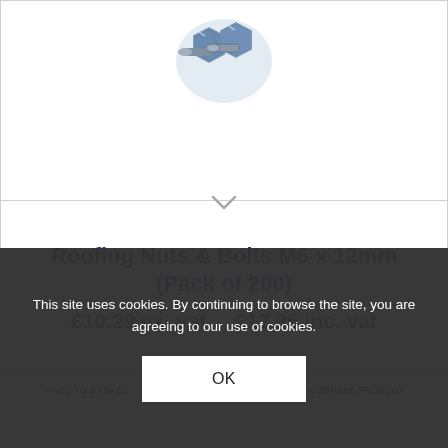[Figure (photo): Photograph of metal roofing nuts and bolts (M6 x 12mm), zinc-plated, shown against white background]
Roofing Nuts & Bolts M6 x 12mm (Pack of 200)
£10.29 ex. vat    £12.35 inc. vat
ADD TO BASKET | COMPARE PRODUCT
This site uses cookies. By continuing to browse the site, you are agreeing to our use of cookies.
OK